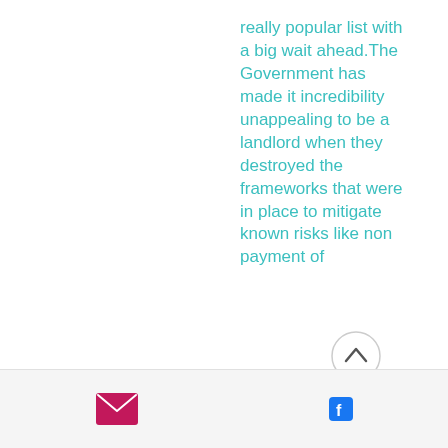really popular list with a big wait ahead.The Government has made it incredibility unappealing to be a landlord when they destroyed the frameworks that were in place to mitigate known risks like non payment of
[Figure (other): Circular scroll-up / back-to-top button with an upward chevron arrow, grey border circle on white background]
[Figure (other): Footer bar with email envelope icon (pink/magenta) and Facebook logo icon (blue)]